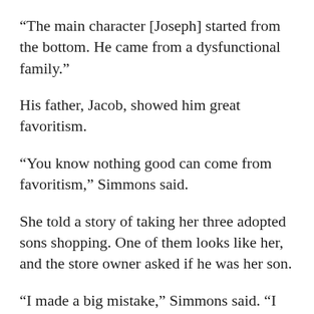“The main character [Joseph] started from the bottom. He came from a dysfunctional family.”
His father, Jacob, showed him great favoritism.
“You know nothing good can come from favoritism,” Simmons said.
She told a story of taking her three adopted sons shopping. One of them looks like her, and the store owner asked if he was her son.
“I made a big mistake,” Simmons said. “I said the tallest was mine and the other two were just with me.”
A few weeks later, the youngest of the three